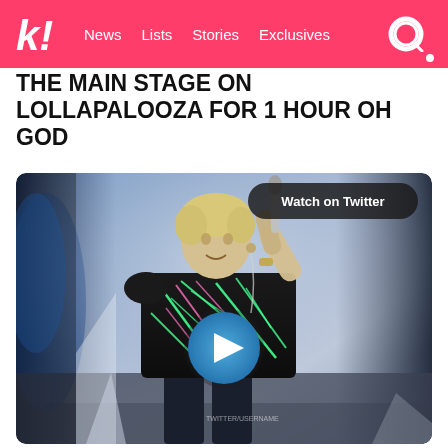k! News Lists Stories Exclusives
THE MAIN STAGE ON LOLLAPALOOZA FOR 1 HOUR OH GOD
[Figure (photo): A performer singing on stage holding a microphone, wearing a black t-shirt with neon green and pink graphic print. Stage lighting creates a blue/foggy atmosphere. A blue play button circle overlay is centered on the image. A 'Watch on Twitter' button appears in the top right of the image.]